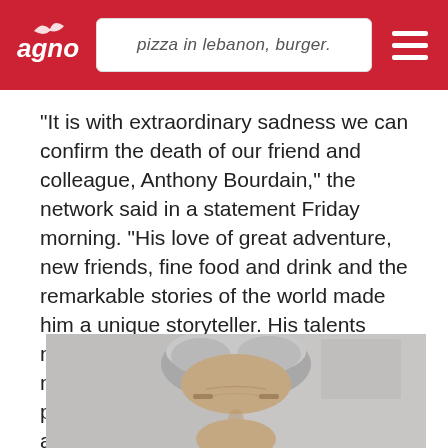pizza in lebanon, burger.
"It is with extraordinary sadness we can confirm the death of our friend and colleague, Anthony Bourdain," the network said in a statement Friday morning. "His love of great adventure, new friends, fine food and drink and the remarkable stories of the world made him a unique storyteller. His talents never ceased to amaze us and we will miss him very much. Our thoughts and prayers are with his daughter and family at this incredibly difficult time."
[Figure (photo): Photo of Anthony Bourdain, a man with grey hair, cropped to show head and upper face area]